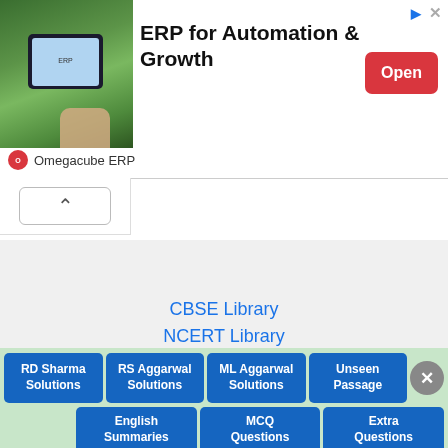[Figure (infographic): Advertisement banner: ERP for Automation & Growth by Omegacube ERP, with industrial/tablet photo on left, Open button on right]
ERP for Automation & Growth
Omegacube ERP
CBSE Library
NCERT Library
Copyright © 2022 NCERT MCQ
[Figure (infographic): Social media icons: Facebook, Twitter, Instagram, Pinterest in dark blue]
RD Sharma Solutions
RS Aggarwal Solutions
ML Aggarwal Solutions
Unseen Passage
English Summaries
MCQ Questions
Extra Questions